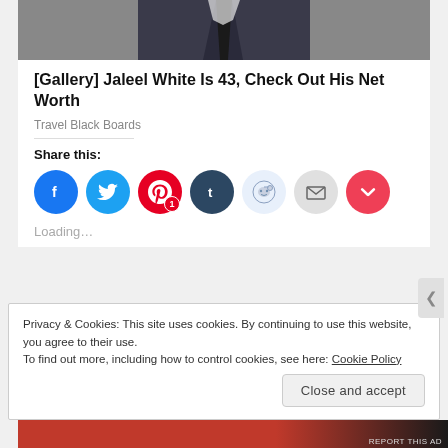[Figure (photo): Partial photo of a man in a dark suit and tie, cropped showing torso/neck area]
[Gallery] Jaleel White Is 43, Check Out His Net Worth
Travel Black Boards
Share this:
[Figure (infographic): Social share buttons: Facebook (blue), Twitter (light blue), Pinterest (red, badge showing 1), Tumblr (dark blue), Reddit (light blue), Email (gray), Pocket (red)]
Loading…
Privacy & Cookies: This site uses cookies. By continuing to use this website, you agree to their use.
To find out more, including how to control cookies, see here: Cookie Policy
Close and accept